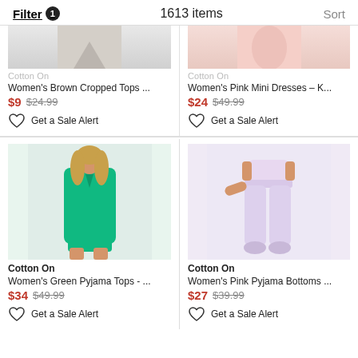Filter 1   1613 items   Sort
Cotton On
Women's Brown Cropped Tops ...
$9 $24.99
Get a Sale Alert
Cotton On
Women's Pink Mini Dresses – K...
$24 $49.99
Get a Sale Alert
[Figure (photo): Woman wearing green satin pyjama top and shorts set]
Cotton On
Women's Green Pyjama Tops - ...
$34 $49.99
Get a Sale Alert
[Figure (photo): Woman wearing pink pyjama bottoms]
Cotton On
Women's Pink Pyjama Bottoms ...
$27 $39.99
Get a Sale Alert